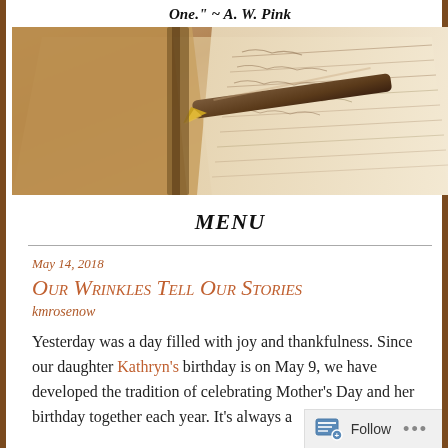One." ~ A. W. Pink
[Figure (photo): Close-up photo of an open book/journal with a dip pen/quill resting on handwritten pages, warm sepia tones]
MENU
May 14, 2018
Our Wrinkles Tell Our Stories
kmrosenow
Yesterday was a day filled with joy and thankfulness. Since our daughter Kathryn’s birthday is on May 9, we have developed the tradition of celebrating Mother’s Day and her birthday together each year. It’s always a